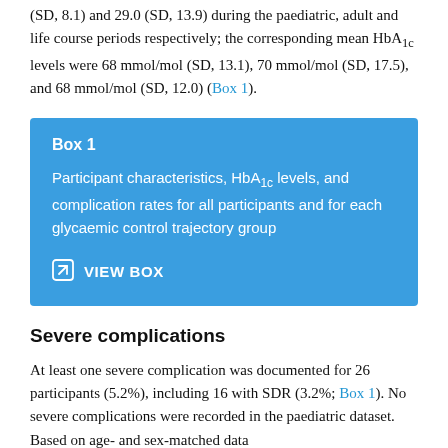(SD, 8.1) and 29.0 (SD, 13.9) during the paediatric, adult and life course periods respectively; the corresponding mean HbA1c levels were 68 mmol/mol (SD, 13.1), 70 mmol/mol (SD, 17.5), and 68 mmol/mol (SD, 12.0) (Box 1).
[Figure (other): Blue box callout for Box 1: Participant characteristics, HbA1c levels, and complication rates for all participants and for each glycaemic control trajectory group. Contains a VIEW BOX link button.]
Severe complications
At least one severe complication was documented for 26 participants (5.2%), including 16 with SDR (3.2%; Box 1). No severe complications were recorded in the paediatric dataset. Based on age- and sex-matched data